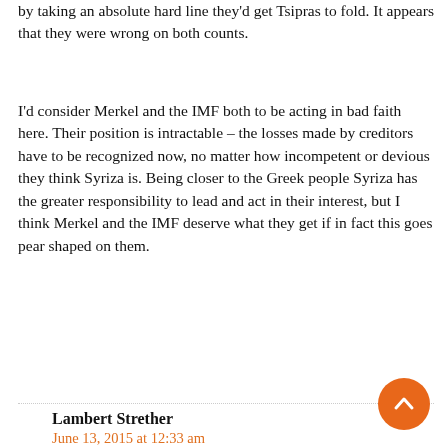by taking an absolute hard line they'd get Tsipras to fold. It appears that they were wrong on both counts.
I'd consider Merkel and the IMF both to be acting in bad faith here. Their position is intractable – the losses made by creditors have to be recognized now, no matter how incompetent or devious they think Syriza is. Being closer to the Greek people Syriza has the greater responsibility to lead and act in their interest, but I think Merkel and the IMF deserve what they get if in fact this goes pear shaped on them.
Lambert Strether
June 13, 2015 at 12:33 am
Personally, I think the only people with a handle on the situation are the Left Platform in Syriza (too time-pressed to find the link in Jacobin; I will on request), probably because they have old-line leftie contacts who know a war when they see one. But although they can veto what Tsipras does, they aren't running the show because they don't have the votes. And it's not clear they have